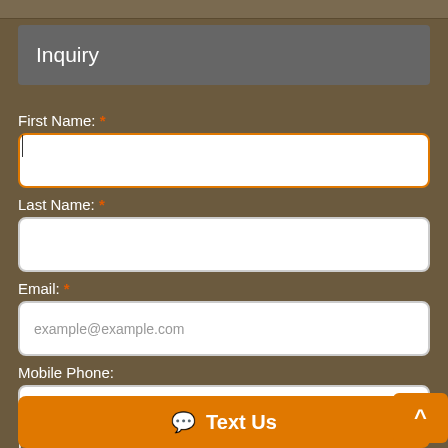Inquiry
First Name: *
Last Name: *
Email: *
Mobile Phone:
Home Phone:
Text Us